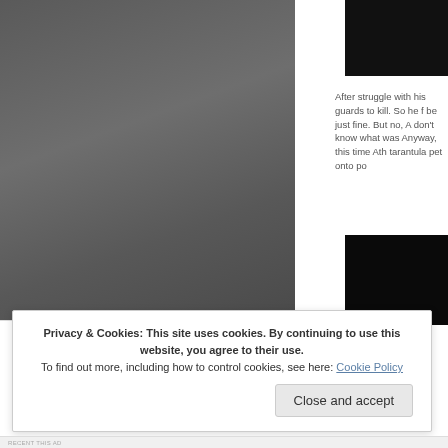[Figure (photo): Large dark grey image on left side of page, appears to be a textured or silhouetted figure]
[Figure (photo): Small dark/black image thumbnail in top right corner]
After struggle with his guards to kill. So he f be just fine. But no, A don't know what was Anyway, this time Ath tarantula pet onto po
[Figure (photo): Small dark/black image thumbnail in lower right area]
Privacy & Cookies: This site uses cookies. By continuing to use this website, you agree to their use. To find out more, including how to control cookies, see here: Cookie Policy
Close and accept
RECENT THIS AD